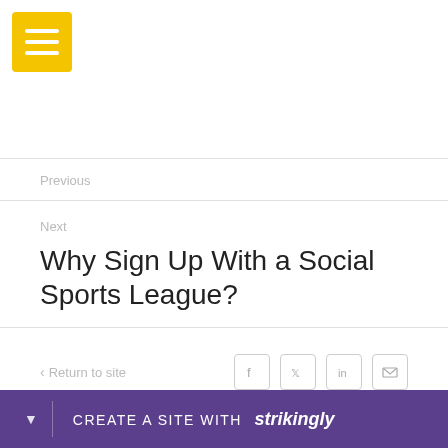[Figure (logo): Yellow hamburger menu button with three white horizontal lines]
Previous
Next
Why Sign Up With a Social Sports League?
< Return to site
[Figure (infographic): Social sharing icons: Facebook, Twitter, LinkedIn, Email]
Powered by Strikingly
CREATE A SITE WITH strikingly